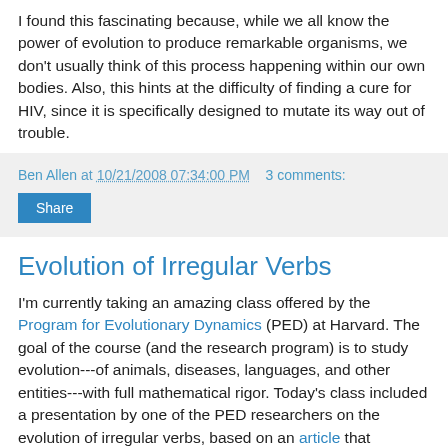I found this fascinating because, while we all know the power of evolution to produce remarkable organisms, we don't usually think of this process happening within our own bodies. Also, this hints at the difficulty of finding a cure for HIV, since it is specifically designed to mutate its way out of trouble.
Ben Allen at 10/21/2008 07:34:00 PM    3 comments:
Share
Evolution of Irregular Verbs
I'm currently taking an amazing class offered by the Program for Evolutionary Dynamics (PED) at Harvard. The goal of the course (and the research program) is to study evolution---of animals, diseases, languages, and other entities---with full mathematical rigor. Today's class included a presentation by one of the PED researchers on the evolution of irregular verbs, based on an article that appeared in Nature in 2007.